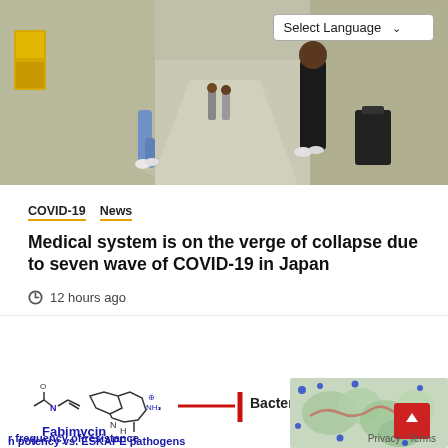[Figure (photo): Hospital corridor with people walking, viewed from ground level. A 'Select Language' dropdown is overlaid in the top-right corner.]
COVID-19  News
Medical system is on the verge of collapse due to seven wave of COVID-19 in Japan
12 hours ago
[Figure (illustration): Scientific illustration of Fabimycin antibiotic compound structure with text labels 'Fabimycin', 'Bacterial F', 'potency vs. ESKAPE pathogens', 'frequency of resistance', and a molecular surface rendering image on the right.]